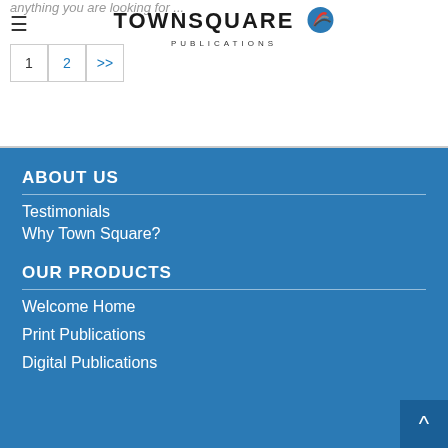anything you are looking for ...
TOWNSQUARE PUBLICATIONS
1 2 >>
ABOUT US
Testimonials
Why Town Square?
OUR PRODUCTS
Welcome Home
Print Publications
Digital Publications